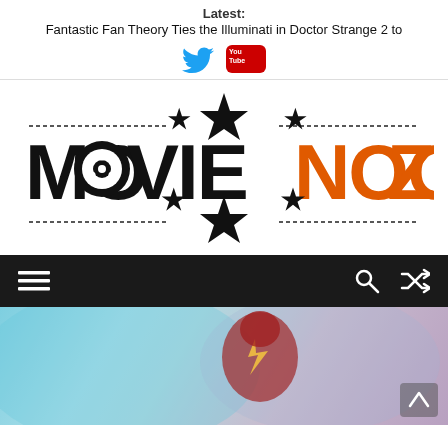Latest: Fantastic Fan Theory Ties the Illuminati in Doctor Strange 2 to
[Figure (logo): MovieNooz logo with stars and film reel, black and orange text]
[Figure (infographic): Dark navigation bar with hamburger menu on left and search/shuffle icons on right]
[Figure (photo): Hero image showing The Flash character in red suit with lightning bolt emblem against a teal/purple blurred background]